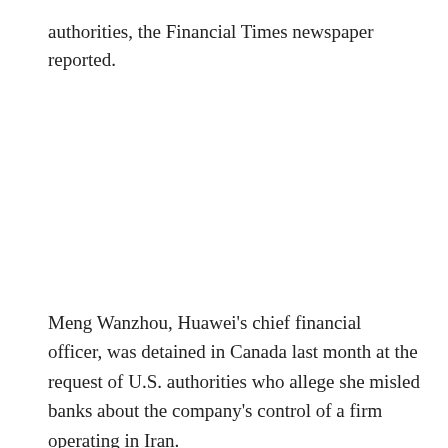authorities, the Financial Times newspaper reported.
Meng Wanzhou, Huawei's chief financial officer, was detained in Canada last month at the request of U.S. authorities who allege she misled banks about the company's control of a firm operating in Iran.